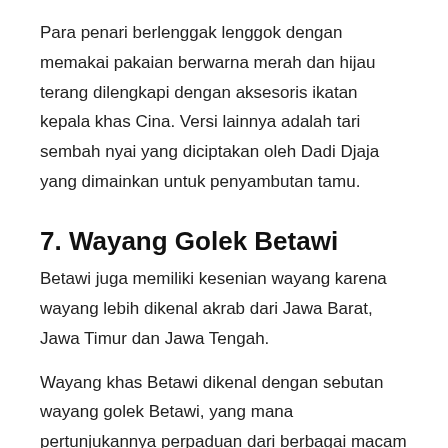Para penari berlenggak lenggok dengan memakai pakaian berwarna merah dan hijau terang dilengkapi dengan aksesoris ikatan kepala khas Cina. Versi lainnya adalah tari sembah nyai yang diciptakan oleh Dadi Djaja yang dimainkan untuk penyambutan tamu.
7. Wayang Golek Betawi
Betawi juga memiliki kesenian wayang karena wayang lebih dikenal akrab dari Jawa Barat, Jawa Timur dan Jawa Tengah.
Wayang khas Betawi dikenal dengan sebutan wayang golek Betawi, yang mana pertunjukannya perpaduan dari berbagai macam kesenian Betawi. Mulai dari